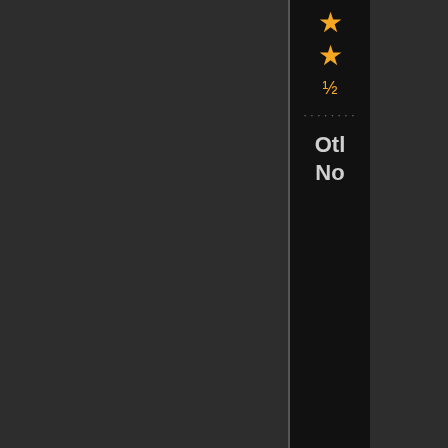[Figure (screenshot): UI sidebar panel with dark background showing two star icons (gold), a half-star fraction symbol (½), a row of dots, and two text labels 'Otl' and 'No' in white/gray bold text. The panel is a narrow vertical strip on the right portion of a dark gray page.]